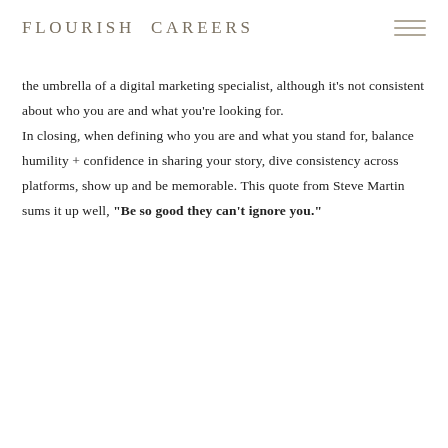FLOURISH CAREERS
the umbrella of a digital marketing specialist, although it's not consistent about who you are and what you're looking for.
In closing, when defining who you are and what you stand for, balance humility + confidence in sharing your story, dive consistency across platforms, show up and be memorable. This quote from Steve Martin sums it up well, "Be so good they can't ignore you."